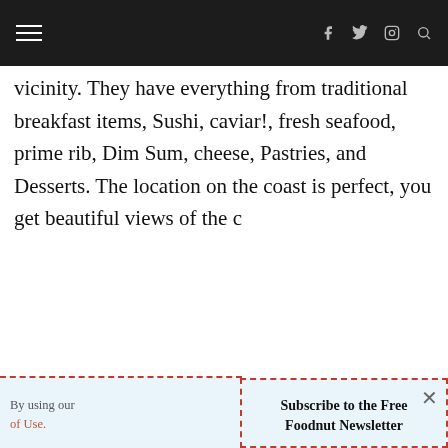≡  f  𝕏  ⊡  🔍
vicinity. They have everything from traditional breakfast items, Sushi, caviar!, fresh seafood, prime rib, Dim Sum, cheese, Pastries, and Desserts. The location on the coast is perfect, you get beautiful views of the c
[Figure (photo): Dark circular food dish on dark background, partially visible at bottom-left]
By using our  of Use.
Subscribe to the Free Foodnut Newsletter

Email address:

Your email address

SIGN UP